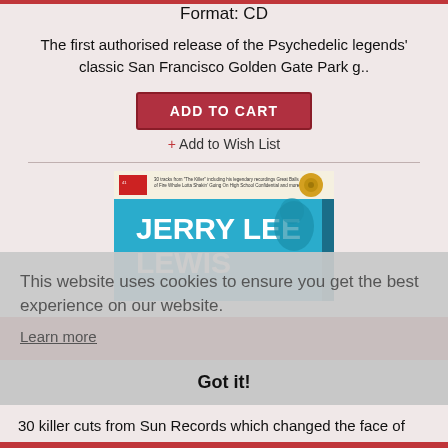Format: CD
The first authorised release of the Psychedelic legends' classic San Francisco Golden Gate Park g..
ADD TO CART
+ Add to Wish List
[Figure (photo): Jerry Lee Lewis album cover with blue background and the artist's name in white text]
This website uses cookies to ensure you get the best experience on our website.
Learn more
Got it!
30 killer cuts from Sun Records which changed the face of